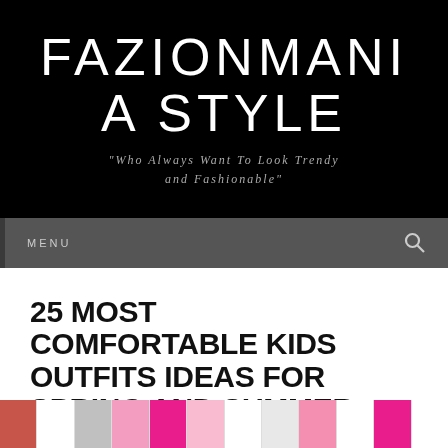FAZIONMANIA STYLE
"Who Always Want To Look Trendy and Fashionable"
MENU
25 MOST COMFORTABLE KIDS OUTFITS IDEAS FOR SPRING AND SUMMER
[Figure (photo): Bottom strip showing colorful clothing items, partially visible at the bottom of the page]